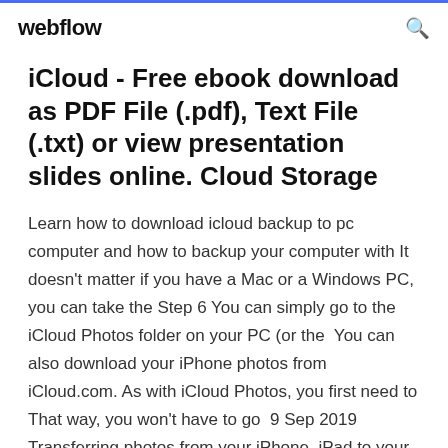webflow
iCloud - Free ebook download as PDF File (.pdf), Text File (.txt) or view presentation slides online. Cloud Storage
Learn how to download icloud backup to pc computer and how to backup your computer with It doesn't matter if you have a Mac or a Windows PC, you can take the Step 6 You can simply go to the iCloud Photos folder on your PC (or the  You can also download your iPhone photos from iCloud.com. As with iCloud Photos, you first need to That way, you won't have to go  9 Sep 2019 Transferring photos from your iPhone, iPad to your Windows 10 PC...